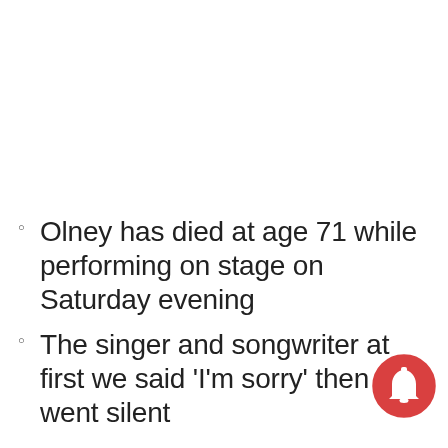Olney has died at age 71 while performing on stage on Saturday evening
The singer and songwriter at first we said 'I'm sorry' then went silent